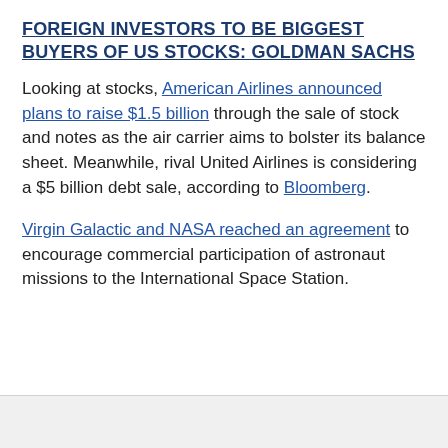FOREIGN INVESTORS TO BE BIGGEST BUYERS OF US STOCKS: GOLDMAN SACHS
Looking at stocks, American Airlines announced plans to raise $1.5 billion through the sale of stock and notes as the air carrier aims to bolster its balance sheet. Meanwhile, rival United Airlines is considering a $5 billion debt sale, according to Bloomberg.
Virgin Galactic and NASA reached an agreement to encourage commercial participation of astronaut missions to the International Space Station.